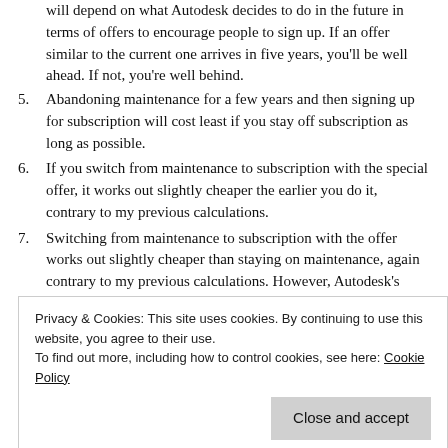will depend on what Autodesk decides to do in the future in terms of offers to encourage people to sign up. If an offer similar to the current one arrives in five years, you'll be well ahead. If not, you're well behind.
5. Abandoning maintenance for a few years and then signing up for subscription will cost least if you stay off subscription as long as possible.
6. If you switch from maintenance to subscription with the special offer, it works out slightly cheaper the earlier you do it, contrary to my previous calculations.
7. Switching from maintenance to subscription with the offer works out slightly cheaper than staying on maintenance, again contrary to my previous calculations. However, Autodesk's perception of this as “huge incentives for loyalty that we’re
Privacy & Cookies: This site uses cookies. By continuing to use this website, you agree to their use.
To find out more, including how to control cookies, see here: Cookie Policy
Close and accept
significantly less than the money you have invested in the